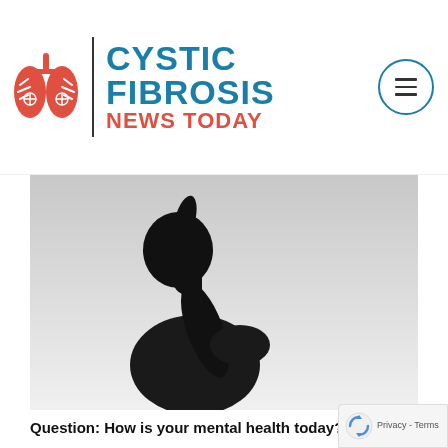CYSTIC FIBROSIS NEWS TODAY
[Figure (photo): Black and white silhouette photo of a person bowing their head with hand raised to forehead, against a light grey background, conveying distress or sadness.]
Question: How is your mental health today?
Yesterday I wrote a stream of consciousness rant about how sad and panicky I was feeling about finances, the lack of time to balance both treatments and work. I already knew that Monday was going to kick my bu...